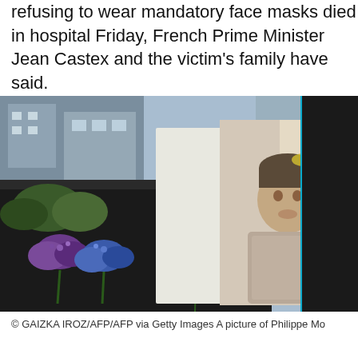refusing to wear mandatory face masks died in hospital Friday, French Prime Minister Jean Castex and the victim's family have said.
[Figure (photo): A memorial photograph of Philippe Monguillot and his wife Veronique Monguillot, placed at a march location in Bayonne, surrounded by flowers including purple hydrangeas and a white rose.]
© GAIZKA IROZ/AFP/AFP via Getty Images A picture of Philippe Monguillot and his wife, Veronique Monguillot, at a march in Bayonne on July 8.